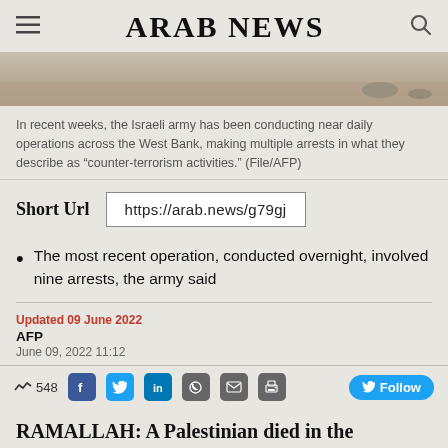ARAB NEWS
[Figure (photo): Partial view of a landscape/ground scene, muted tones]
In recent weeks, the Israeli army has been conducting near daily operations across the West Bank, making multiple arrests in what they describe as “counter-terrorism activities.” (File/AFP)
Short Url  https://arab.news/g79gj
The most recent operation, conducted overnight, involved nine arrests, the army said
Updated 09 June 2022
AFP
June 09, 2022 11:12
548  Follow
RAMALLAH: A Palestinian died in the occupied